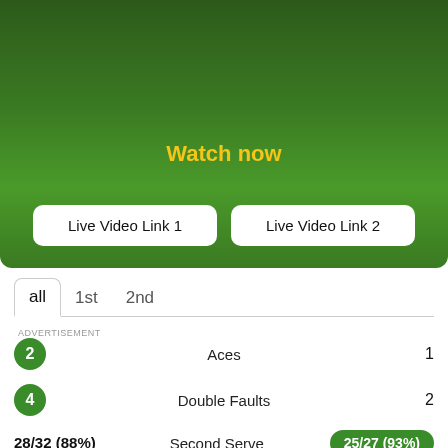[Figure (screenshot): Green gradient tennis match panel with 'Watch now' text in yellow and two white buttons: 'Live Video Link 1' and 'Live Video Link 2']
Watch now
Live Video Link 1
Live Video Link 2
all   1st   2nd
ADVERTISEMENT
| Player 1 | Stat | Player 2 |
| --- | --- | --- |
| 2 | Aces | 1 |
| 4 | Double Faults | 2 |
| 28/32 (88%) | Second Serve | 25/27 (93%) |